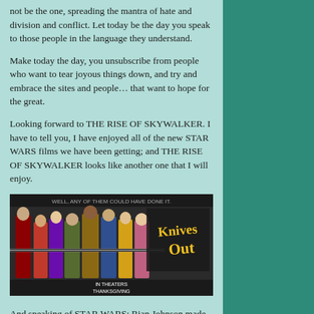not be the one, spreading the mantra of hate and division and conflict. Let today be the day you speak to those people in the language they understand.
Make today the day, you unsubscribe from people who want to tear joyous things down, and try and embrace the sites and people… that want to hope for the great.
Looking forward to THE RISE OF SKYWALKER. I have to tell you, I have enjoyed all of the new STAR WARS films we have been getting; and THE RISE OF SKYWALKER looks like another one that I will enjoy.
[Figure (photo): Movie poster for Knives Out - showing ensemble cast with text 'Knives Out' in yellow, 'IN THEATERS THANKSGIVING']
And speaking of STAR WARS; Rian Johnson made one of